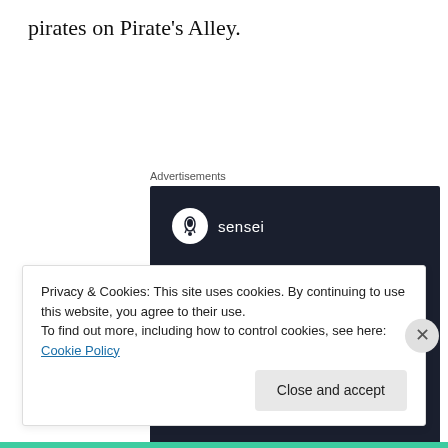pirates on Pirate's Alley.
[Figure (other): Sensei advertisement: dark background with Sensei logo (tree icon in white circle), headline 'Launch your online course with WordPress', and a teal 'Learn More' button.]
Privacy & Cookies: This site uses cookies. By continuing to use this website, you agree to their use.
To find out more, including how to control cookies, see here: Cookie Policy
Close and accept